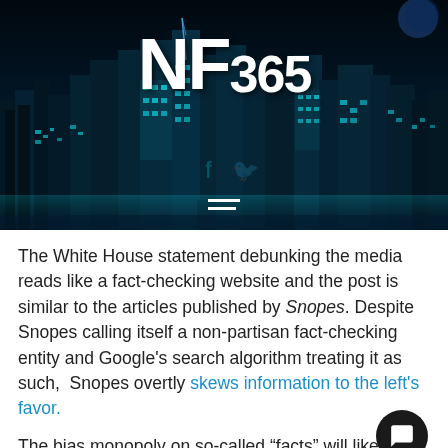[Figure (photo): Dark nighttime cityscape with glowing cyan/blue city lights and skyscrapers. NF365 logo overlaid at top center in bold white text. Three horizontal menu lines at bottom center.]
The White House statement debunking the media reads like a fact-checking website and the post is similar to the articles published by Snopes. Despite Snopes calling itself a non-partisan fact-checking entity and Google's search algorithm treating it as such,  Snopes overtly skews information to the left's favor.
The bias monopoly on so-called “facts” will likely prompt the White House to play the role of fact-checker more often. You